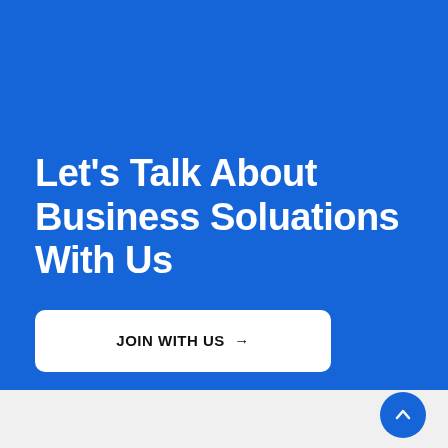Let's Talk About Business Soluations With Us
JOIN WITH US →
[Figure (other): Scroll-to-top button with upward chevron arrow, blue circle on light gray footer bar]